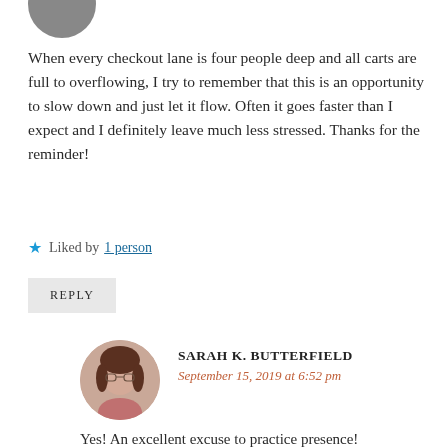[Figure (photo): Partial circular avatar photo, cropped at top of page]
When every checkout lane is four people deep and all carts are full to overflowing, I try to remember that this is an opportunity to slow down and just let it flow. Often it goes faster than I expect and I definitely leave much less stressed. Thanks for the reminder!
★ Liked by 1 person
REPLY
[Figure (photo): Circular avatar photo of Sarah K. Butterfield, a woman with glasses and dark hair]
SARAH K. BUTTERFIELD
September 15, 2019 at 6:52 pm
Yes! An excellent excuse to practice presence!